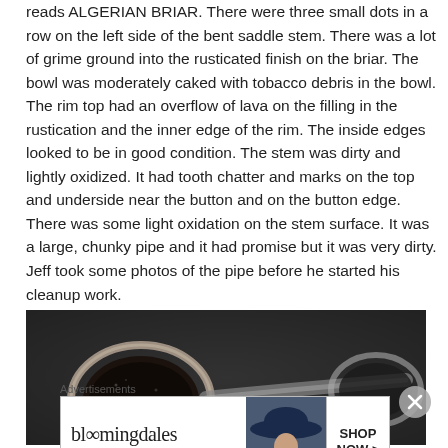reads ALGERIAN BRIAR. There were three small dots in a row on the left side of the bent saddle stem. There was a lot of grime ground into the rusticated finish on the briar. The bowl was moderately caked with tobacco debris in the bowl. The rim top had an overflow of lava on the filling in the rustication and the inner edge of the rim. The inside edges looked to be in good condition. The stem was dirty and lightly oxidized. It had tooth chatter and marks on the top and underside near the button and on the button edge. There was some light oxidation on the stem surface. It was a large, chunky pipe and it had promise but it was very dirty. Jeff took some photos of the pipe before he started his cleanup work.
[Figure (photo): Close-up dark photo of a tobacco pipe bowl and stem on a dark surface]
Advertisements
[Figure (other): Bloomingdale's advertisement banner with logo, 'View Today's Top Deals!' text, woman in hat image, and 'SHOP NOW >' button]